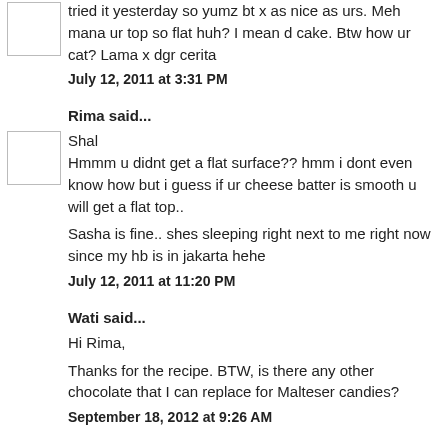tried it yesterday so yumz bt x as nice as urs. Meh mana ur top so flat huh? I mean d cake. Btw how ur cat? Lama x dgr cerita
July 12, 2011 at 3:31 PM
Rima said...
Shal
Hmmm u didnt get a flat surface?? hmm i dont even know how but i guess if ur cheese batter is smooth u will get a flat top..

Sasha is fine.. shes sleeping right next to me right now since my hb is in jakarta hehe
July 12, 2011 at 11:20 PM
Wati said...
Hi Rima,

Thanks for the recipe. BTW, is there any other chocolate that I can replace for Malteser candies?
September 18, 2012 at 9:26 AM